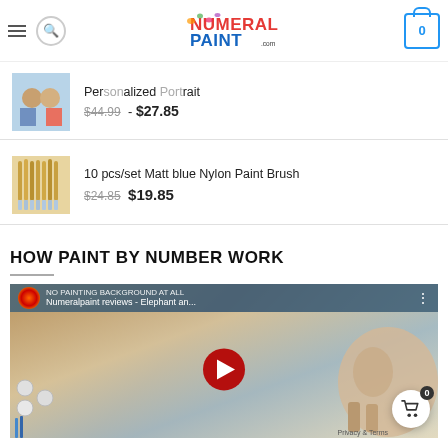Numeral Paint .com
$44.99 - $27.85
10 pcs/set Matt blue Nylon Paint Brush $24.85 $19.85
HOW PAINT BY NUMBER WORK
[Figure (screenshot): YouTube video embed showing 'Numeralpaint reviews - Elephant an...' with play button overlay and elephant painting background]